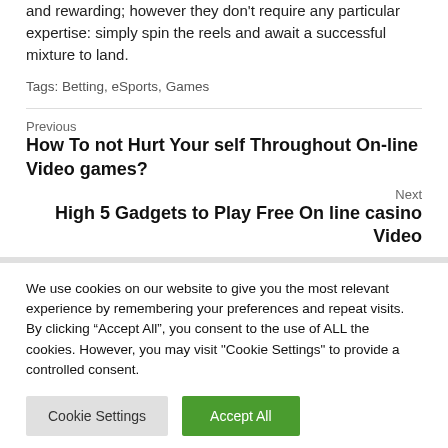and rewarding; however they don't require any particular expertise: simply spin the reels and await a successful mixture to land.
Tags: Betting, eSports, Games
Previous
How To not Hurt Your self Throughout On-line Video games?
Next
High 5 Gadgets to Play Free On line casino Video
We use cookies on our website to give you the most relevant experience by remembering your preferences and repeat visits. By clicking "Accept All", you consent to the use of ALL the cookies. However, you may visit "Cookie Settings" to provide a controlled consent.